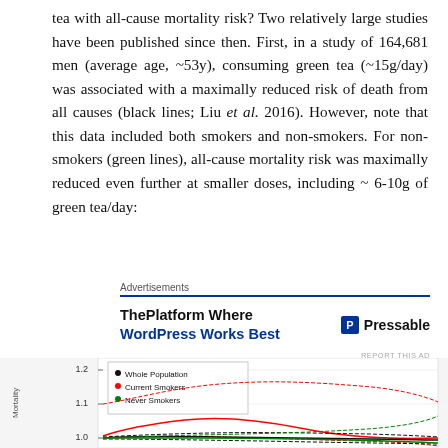tea with all-cause mortality risk? Two relatively large studies have been published since then. First, in a study of 164,681 men (average age, ~53y), consuming green tea (~15g/day) was associated with a maximally reduced risk of death from all causes (black lines; Liu et al. 2016). However, note that this data included both smokers and non-smokers. For non-smokers (green lines), all-cause mortality risk was maximally reduced even further at smaller doses, including ~ 6-10g of green tea/day:
[Figure (other): Advertisement block: ThePlatform Where WordPress Works Best - Pressable]
[Figure (continuous-plot): Line chart showing all-cause mortality relative risk vs green tea consumption for Whole Population (black), Current Smokers (red), and Never Smokers (green), with dashed confidence interval lines. Y-axis shows values around 1.0-1.2. Partial view, cut off at bottom.]